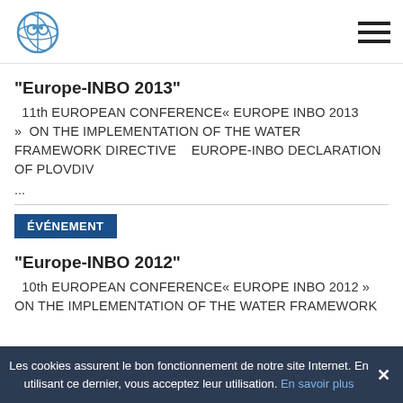INBO logo and navigation menu
"Europe-INBO 2013"
11th EUROPEAN CONFERENCE« EUROPE INBO 2013 »  ON THE IMPLEMENTATION OF THE WATER FRAMEWORK DIRECTIVE    EUROPE-INBO DECLARATION OF PLOVDIV  ...
ÉVÉNEMENT
"Europe-INBO 2012"
10th EUROPEAN CONFERENCE« EUROPE INBO 2012 » ON THE IMPLEMENTATION OF THE WATER FRAMEWORK
Les cookies assurent le bon fonctionnement de notre site Internet. En utilisant ce dernier, vous acceptez leur utilisation. En savoir plus